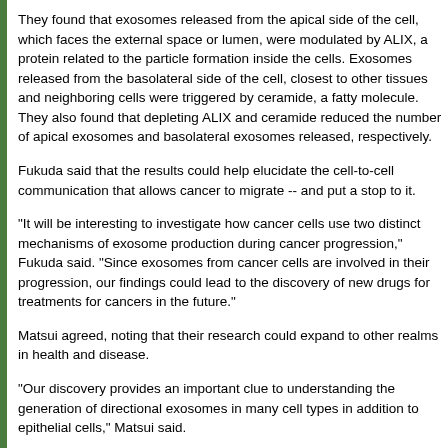They found that exosomes released from the apical side of the cell, which faces the external space or lumen, were modulated by ALIX, a protein related to the particle formation inside the cells. Exosomes released from the basolateral side of the cell, closest to other tissues and neighboring cells were triggered by ceramide, a fatty molecule. They also found that depleting ALIX and ceramide reduced the number of apical exosomes and basolateral exosomes released, respectively.
Fukuda said that the results could help elucidate the cell-to-cell communication that allows cancer to migrate -- and put a stop to it.
"It will be interesting to investigate how cancer cells use two distinct mechanisms of exosome production during cancer progression," Fukuda said. "Since exosomes from cancer cells are involved in their progression, our findings could lead to the discovery of new drugs for treatments for cancers in the future."
Matsui agreed, noting that their research could expand to other realms in health and disease.
"Our discovery provides an important clue to understanding the generation of directional exosomes in many cell types in addition to epithelial cells," Matsui said.
Illustration: Tohoku University.
Read more...
Tohoku University News Release (05/07/21)
Science Daily (05/07/21)
Abstract (EMBO Reports, 2021; 22 (5).)